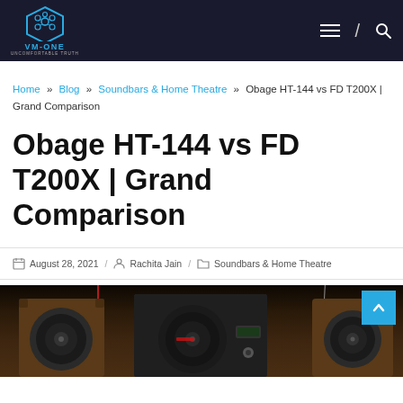VM-ONE | UNCOMFORTABLE TRUTH — navigation header with logo, menu, and search icons
Home » Blog » Soundbars & Home Theatre » Obage HT-144 vs FD T200X | Grand Comparison
Obage HT-144 vs FD T200X | Grand Comparison
August 28, 2021 / Rachita Jain / Soundbars & Home Theatre
[Figure (photo): Photo of speakers (soundbar comparison product image) with dark wooden cabinet speakers on dark background]